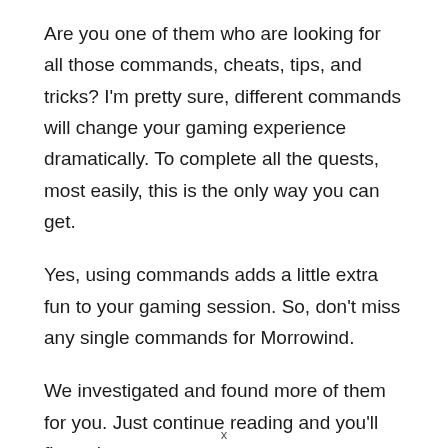Are you one of them who are looking for all those commands, cheats, tips, and tricks? I'm pretty sure, different commands will change your gaming experience dramatically. To complete all the quests, most easily, this is the only way you can get.
Yes, using commands adds a little extra fun to your gaming session. So, don't miss any single commands for Morrowind.
We investigated and found more of them for you. Just continue reading and you'll figure it out.
x